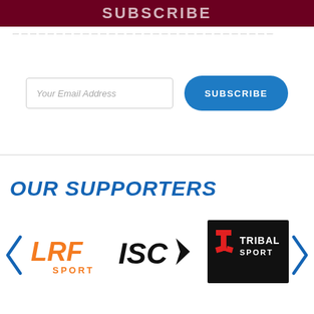SUBSCRIBE
Your Email Address
SUBSCRIBE
OUR SUPPORTERS
[Figure (logo): LRF Sport logo in orange]
[Figure (logo): ISD arrow logo in black]
[Figure (logo): Tribal Sport logo on black background with red T icon]